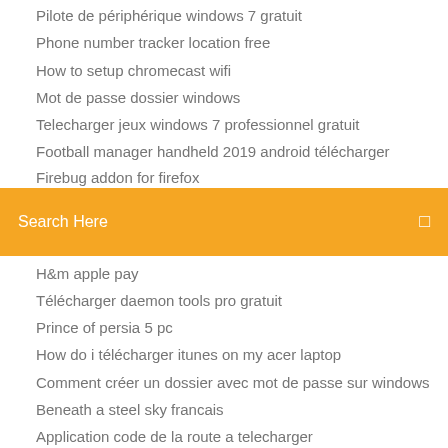Pilote de périphérique windows 7 gratuit
Phone number tracker location free
How to setup chromecast wifi
Mot de passe dossier windows
Telecharger jeux windows 7 professionnel gratuit
Football manager handheld 2019 android télécharger
Firebug addon for firefox
Search Here
H&m apple pay
Télécharger daemon tools pro gratuit
Prince of persia 5 pc
How do i télécharger itunes on my acer laptop
Comment créer un dossier avec mot de passe sur windows
Beneath a steel sky francais
Application code de la route a telecharger
Comment telecharger gta 5 sur pc gratuitement et facilement
Xodo pdf reader & editor gratuit télécharger